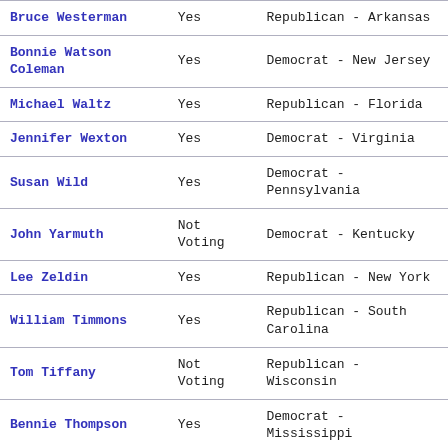| Name | Vote | Party - State |
| --- | --- | --- |
| Bruce Westerman | Yes | Republican - Arkansas |
| Bonnie Watson Coleman | Yes | Democrat - New Jersey |
| Michael Waltz | Yes | Republican - Florida |
| Jennifer Wexton | Yes | Democrat - Virginia |
| Susan Wild | Yes | Democrat - Pennsylvania |
| John Yarmuth | Not Voting | Democrat - Kentucky |
| Lee Zeldin | Yes | Republican - New York |
| William Timmons | Yes | Republican - South Carolina |
| Tom Tiffany | Not Voting | Republican - Wisconsin |
| Bennie Thompson | Yes | Democrat - Mississippi |
| Mike Thompson | Yes | Democrat - California |
| Michael Turner | Yes | Republican - Ohio |
|  |  | Republi… |